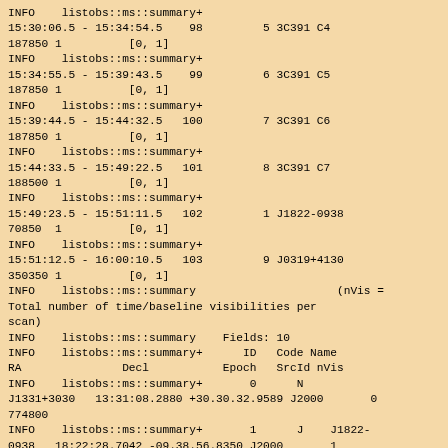INFO    listobs::ms::summary+
15:30:06.5 - 15:34:54.5    98         5 3C391 C4     187850 1          [0, 1]
INFO    listobs::ms::summary+
15:34:55.5 - 15:39:43.5    99         6 3C391 C5     187850 1          [0, 1]
INFO    listobs::ms::summary+
15:39:44.5 - 15:44:32.5   100         7 3C391 C6     187850 1          [0, 1]
INFO    listobs::ms::summary+
15:44:33.5 - 15:49:22.5   101         8 3C391 C7     188500 1          [0, 1]
INFO    listobs::ms::summary+
15:49:23.5 - 15:51:11.5   102         1 J1822-0938    70850  1          [0, 1]
INFO    listobs::ms::summary+
15:51:12.5 - 16:00:10.5   103         9 J0319+4130   350350 1          [0, 1]
INFO    listobs::ms::summary                     (nVis = Total number of time/baseline visibilities per scan)
INFO    listobs::ms::summary    Fields: 10
INFO    listobs::ms::summary+      ID   Code Name                RA               Decl           Epoch   SrcId nVis
INFO    listobs::ms::summary+       0      N J1331+3030   13:31:08.2880 +30.30.32.9589 J2000       0  774800
INFO    listobs::ms::summary+       1      J J1822-0938   18:22:28.7042 -09.38.56.8350 J2000       1 1361750
INFO    listobs::ms::summary+       2   NONE 3C391 C1     18:49:24.2440 -00.55.40.5800 J2000       2